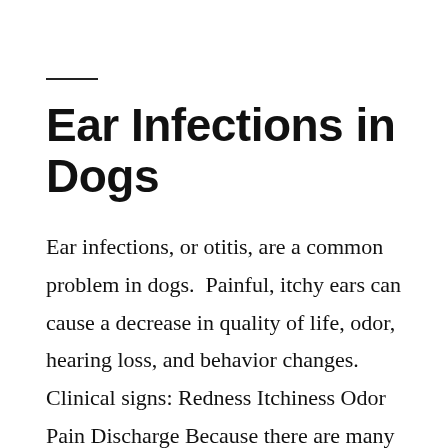Ear Infections in Dogs
Ear infections, or otitis, are a common problem in dogs.  Painful, itchy ears can cause a decrease in quality of life, odor, hearing loss, and behavior changes. Clinical signs: Redness Itchiness Odor Pain Discharge Because there are many possible causes of ear infections, it is important to...